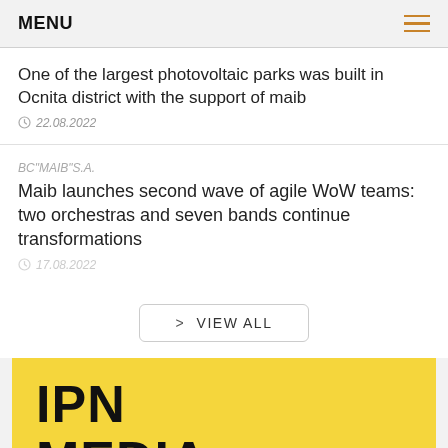MENU
One of the largest photovoltaic parks was built in Ocnita district with the support of maib
22.08.2022
BC“MAIB”S.A.
Maib launches second wave of agile WoW teams: two orchestras and seven bands continue transformations
17.08.2022
> VIEW ALL
[Figure (logo): IPN MEDIA PRODUCTS text on yellow background]